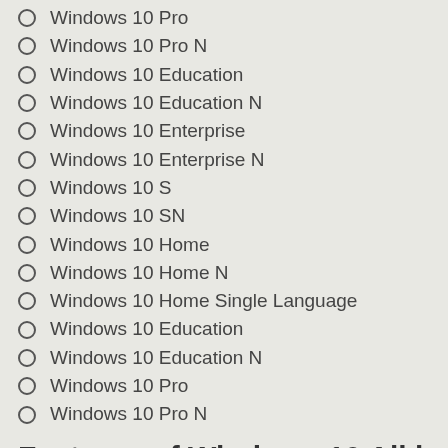Windows 10 Pro
Windows 10 Pro N
Windows 10 Education
Windows 10 Education N
Windows 10 Enterprise
Windows 10 Enterprise N
Windows 10 S
Windows 10 SN
Windows 10 Home
Windows 10 Home N
Windows 10 Home Single Language
Windows 10 Education
Windows 10 Education N
Windows 10 Pro
Windows 10 Pro N
Features of Windows 10 All in